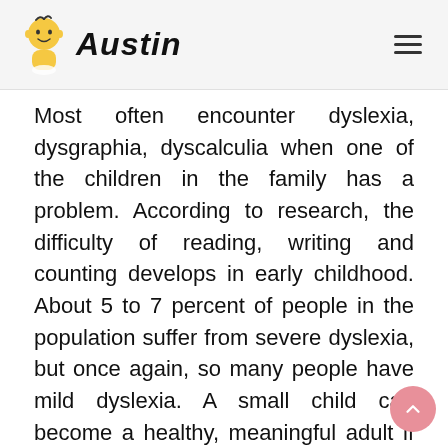Austin
Most often encounter dyslexia, dysgraphia, dyscalculia when one of the children in the family has a problem. According to research, the difficulty of reading, writing and counting develops in early childhood. About 5 to 7 percent of people in the population suffer from severe dyslexia, but once again, so many people have mild dyslexia. A small child can become a healthy, meaningful adult if the right stimuli come at the right age. It rarely happens, and it is almost impossible for a healthy child with sensory organs (hearing, seeing, touching) to become fully stimulated without any external influences. However, there is a difference in the quality and